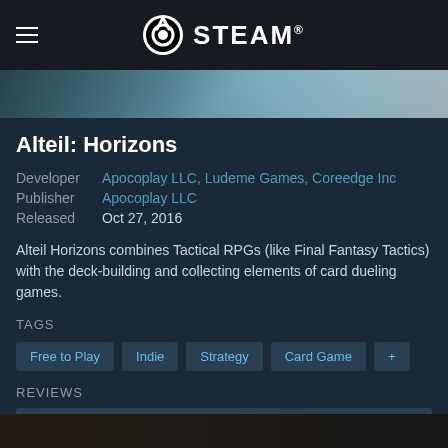STEAM
[Figure (screenshot): Game screenshot image strip at top]
Alteil: Horizons
Developer  Apocoplay LLC, Ludeme Games, Coreedge Inc
Publisher  Apocoplay LLC
Released   Oct 27, 2016
Alteil Horizons combines Tactical RPGs (like Final Fantasy Tactics) with the deck-building and collecting elements of card dueling games.
TAGS
Free to Play
Indie
Strategy
Card Game
+
REVIEWS
Mixed (47% of 102) ALL TIME
[Figure (screenshot): Game screenshot image strip at bottom]